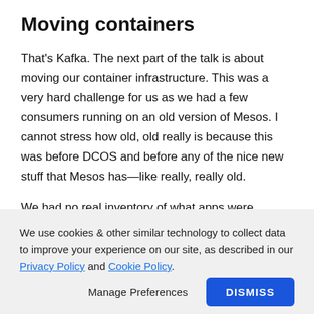Moving containers
That’s Kafka. The next part of the talk is about moving our container infrastructure. This was a very hard challenge for us as we had a few consumers running on an old version of Mesos. I cannot stress how old, old really is because this was before DCOS and before any of the nice new stuff that Mesos has—like really, really old.
We had no real inventory of what apps were running on
We use cookies & other similar technology to collect data to improve your experience on our site, as described in our Privacy Policy and Cookie Policy.
Manage Preferences
DISMISS